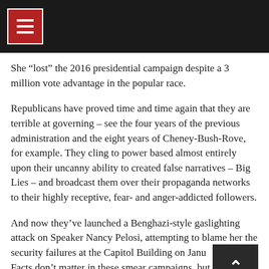≡
She “lost” the 2016 presidential campaign despite a 3 million vote advantage in the popular race.
Republicans have proved time and time again that they are terrible at governing – see the four years of the previous administration and the eight years of Cheney-Bush-Rove, for example. They cling to power based almost entirely upon their uncanny ability to created false narratives – Big Lies – and broadcast them over their propaganda networks to their highly receptive, fear- and anger-addicted followers.
And now they’ve launched a Benghazi-style gaslighting attack on Speaker Nancy Pelosi, attempting to blame her the security failures at the Capitol Building on Janu... Facts don’t matter in these smear campaigns, but good on nonpartisan Factcheck.org for exposing the truth behind the...